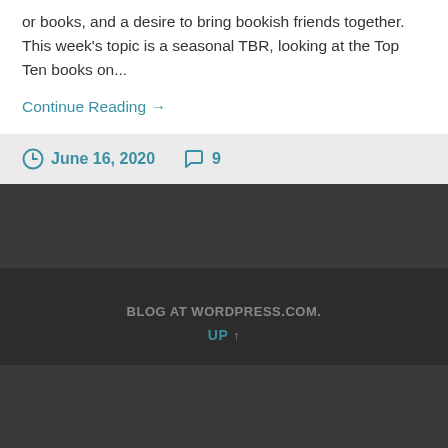or books, and a desire to bring bookish friends together. This week's topic is a seasonal TBR, looking at the Top Ten books on...
Continue Reading →
June 16, 2020  9
BLOG AT WORDPRESS.COM.
UP ↑